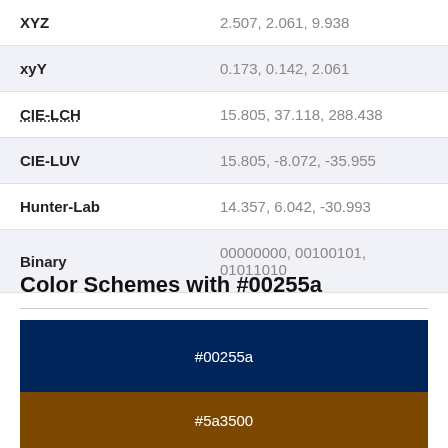| XYZ | 2.507, 2.061, 9.938 |
| xyY | 0.173, 0.142, 2.061 |
| CIE-LCH | 15.805, 37.118, 288.438 |
| CIE-LUV | 15.805, -8.072, -35.955 |
| Hunter-Lab | 14.357, 6.042, -30.993 |
| Binary | 00000000, 00100101, 01011010 |
Color Schemes with #00255a
[Figure (infographic): Two color swatches: top block #00255a (dark navy blue), bottom block #5a3500 (dark brown/amber), each labeled with their hex code in white text.]